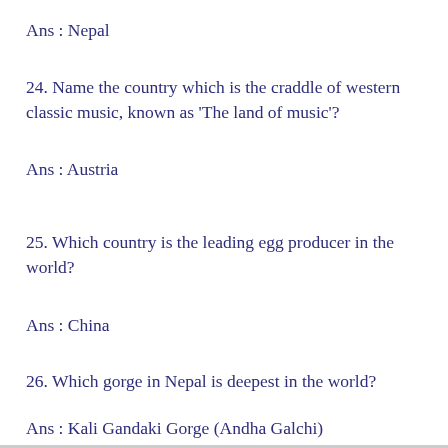Ans : Nepal
24. Name the country which is the craddle of western classic music, known as 'The land of music'?
Ans : Austria
25. Which country is the leading egg producer in the world?
Ans : China
26. Which gorge in Nepal is deepest in the world?
Ans : Kali Gandaki Gorge (Andha Galchi)